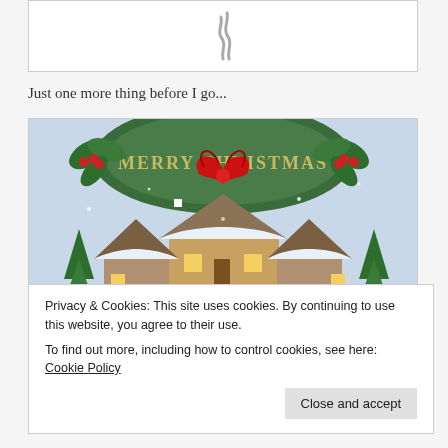[Figure (illustration): Top decorative box with steam/smoke icon in gray]
Just one more thing before I go...
[Figure (illustration): Merry Christmas holiday illustration with holly, red bow, berries, and snow-covered village scene]
Privacy & Cookies: This site uses cookies. By continuing to use this website, you agree to their use.
To find out more, including how to control cookies, see here: Cookie Policy
Close and accept
and a HAPPY NEW YEAR!